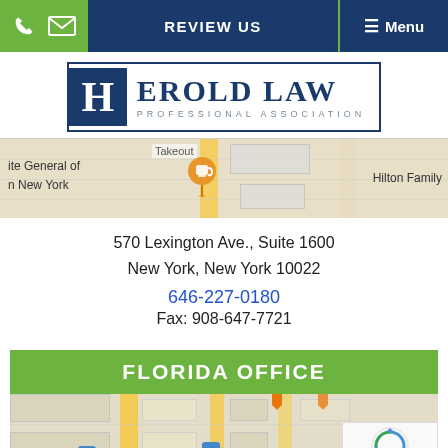REVIEW US  ☰ Menu
[Figure (logo): Herold Law Professional Association logo with blue H box and text]
[Figure (map): Google Maps snippet showing location near 570 Lexington Ave New York]
570 Lexington Ave., Suite 1600
New York, New York 10022
646-227-0180
Fax: 908-647-7721
FLORIDA OFFICE
[Figure (map): Google Maps snippet showing 70 NE 5th Ave, Delray location]